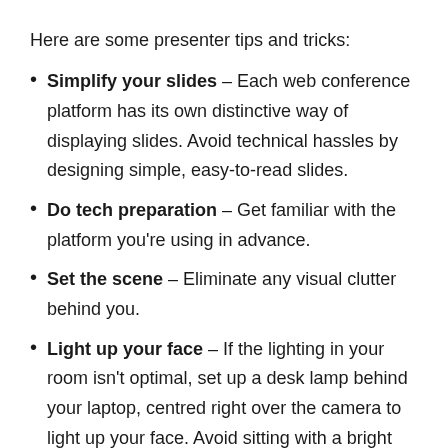Here are some presenter tips and tricks:
Simplify your slides – Each web conference platform has its own distinctive way of displaying slides. Avoid technical hassles by designing simple, easy-to-read slides.
Do tech preparation – Get familiar with the platform you're using in advance.
Set the scene – Eliminate any visual clutter behind you.
Light up your face – If the lighting in your room isn't optimal, set up a desk lamp behind your laptop, centred right over the camera to light up your face. Avoid sitting with a bright window